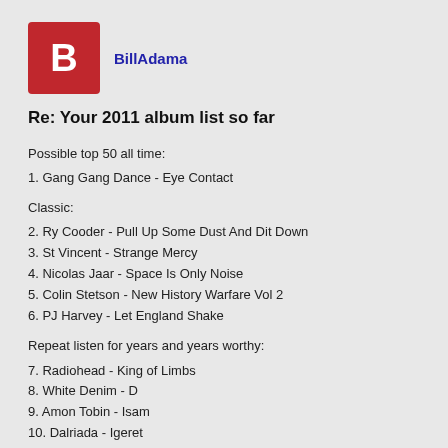[Figure (logo): Red square avatar with white letter B]
BillAdama
Re: Your 2011 album list so far
Possible top 50 all time:
1. Gang Gang Dance - Eye Contact
Classic:
2. Ry Cooder - Pull Up Some Dust And Dit Down
3. St Vincent - Strange Mercy
4. Nicolas Jaar - Space Is Only Noise
5. Colin Stetson - New History Warfare Vol 2
6. PJ Harvey - Let England Shake
Repeat listen for years and years worthy:
7. Radiohead - King of Limbs
8. White Denim - D
9. Amon Tobin - Isam
10. Dalriada - Igeret
Good:
11. Gazelle Twin - The Entire City
12. Cascadeur - The Human Octopus
13. TV On The Radio - Nine Types Of Light
14. Bibio - Mind Bokeh
15. Tyler, The Creator - Goblin